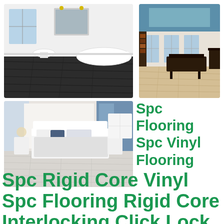[Figure (photo): Bathroom with dark wood-look luxury vinyl plank flooring, white bathtub and fixtures]
[Figure (photo): Elegant living room with light natural wood-look SPC flooring, blue tray ceiling and dark furniture]
[Figure (photo): Modern bedroom with light white/grey wood-look SPC vinyl plank flooring and white furniture]
Spc Flooring Spc Vinyl Flooring
Spc Rigid Core Vinyl Spc Flooring Rigid Core Interlocking Click Lock PVC Vinyl